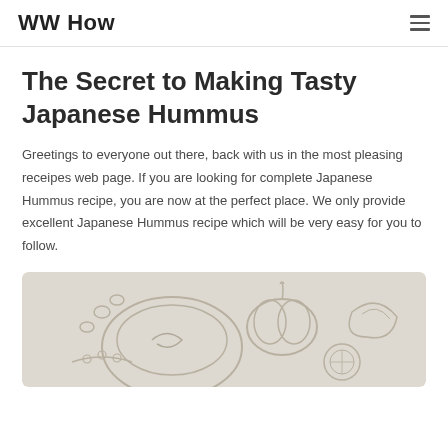WW How
The Secret to Making Tasty Japanese Hummus
Greetings to everyone out there, back with us in the most pleasing receipes web page. If you are looking for complete Japanese Hummus recipe, you are now at the perfect place. We only provide excellent Japanese Hummus recipe which will be very easy for you to follow.
[Figure (illustration): Food illustration showing Japanese Hummus dish with decorative outline drawing on a light beige background]